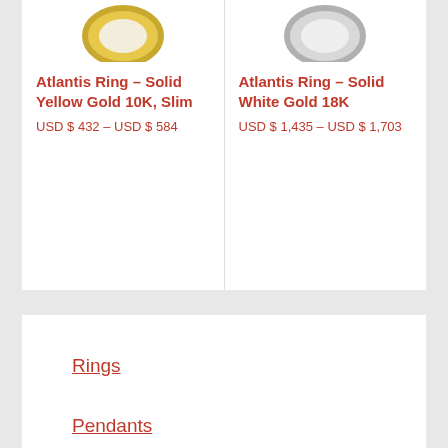[Figure (photo): Product image of Atlantis Ring in Solid Yellow Gold 10K Slim, partially visible at top]
Atlantis Ring – Solid Yellow Gold 10K, Slim
USD $ 432 – USD $ 584
[Figure (photo): Product image of Atlantis Ring in Solid White Gold 18K, partially visible at top]
Atlantis Ring – Solid White Gold 18K
USD $ 1,435 – USD $ 1,703
Rings
Pendants